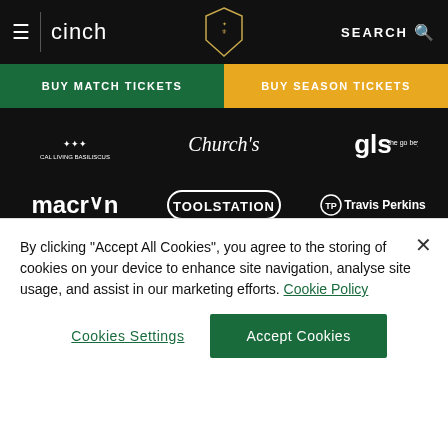cinch | [club crest] | SEARCH
BUY MATCH TICKETS
BUY SEASON TICKETS
[Figure (logo): Sponsor logos grid on black background: row1: [logo1], Church's, gls; row2: macron, TOOLSTATION, TP Travis Perkins; row3: barclaycard, Destination Sport Travel, ELONEX; row4: Michael Jones Jeweller, MIRUS, Hyundai SPIRIT]
By clicking "Accept All Cookies", you agree to the storing of cookies on your device to enhance site navigation, analyse site usage, and assist in our marketing efforts. Cookie Policy
Cookies Settings
Accept Cookies